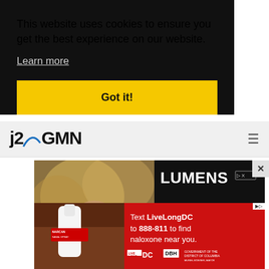This website uses cookies to ensure you get the best experience on our website.
Learn more
Got it!
[Figure (logo): j2GMN website logo with stylized arc/swoosh]
[Figure (photo): Lumens advertisement featuring Tom Dixon brass instruments and a person's face]
[Figure (infographic): Public health advertisement: Text LiveLongDC to 888-811 to find naloxone near you. Shows Narcan nasal spray being held. Logos: LiveLong DC, DBH, District of Columbia Muriel Bowser Mayor]